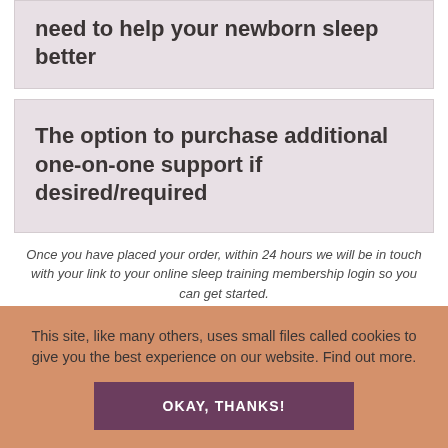need to help your newborn sleep better
The option to purchase additional one-on-one support if desired/required
Once you have placed your order, within 24 hours we will be in touch with your link to your online sleep training membership login so you can get started.
This site, like many others, uses small files called cookies to give you the best experience on our website. Find out more.
OKAY, THANKS!